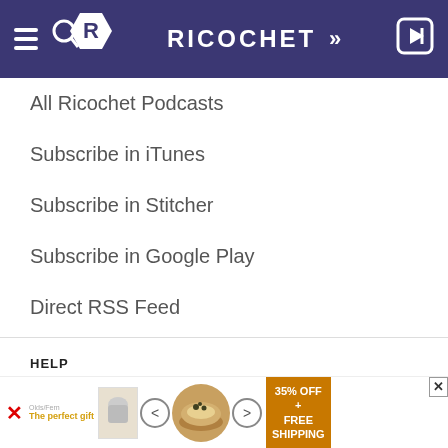RICOCHET
All Ricochet Podcasts
Subscribe in iTunes
Subscribe in Stitcher
Subscribe in Google Play
Direct RSS Feed
HELP
Knowledge Base
Report a Bug
Changelog
[Figure (screenshot): Advertisement banner: The perfect gift, 35% OFF + FREE SHIPPING]